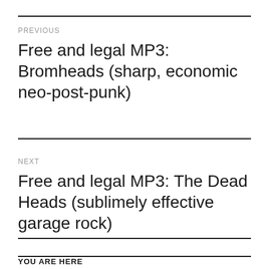PREVIOUS
Free and legal MP3: Bromheads (sharp, economic neo-post-punk)
NEXT
Free and legal MP3: The Dead Heads (sublimely effective garage rock)
YOU ARE HERE